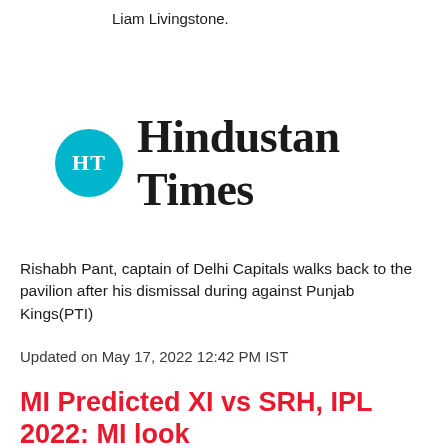Liam Livingstone.
[Figure (logo): Hindustan Times logo: teal circle with 'HT' monogram in white followed by 'Hindustan Times' in blackletter serif font]
Rishabh Pant, captain of Delhi Capitals walks back to the pavilion after his dismissal during against Punjab Kings(PTI)
Updated on May 17, 2022 12:42 PM IST
MI Predicted XI vs SRH, IPL 2022: MI look to end SRH's...